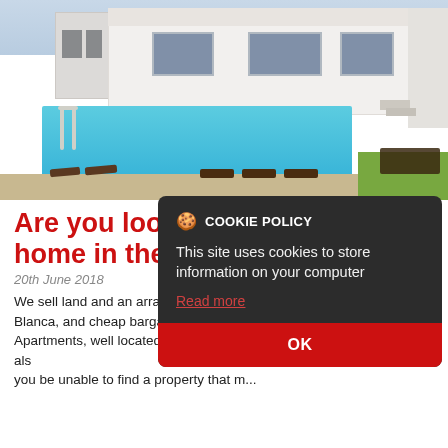[Figure (photo): Modern white villa with swimming pool, sun loungers, and green lawn in background under overcast sky]
Are you looking for a dream home in the sun??
20th June 2018
We sell land and an array of cheap bargain quality Villas in Costa Blanca, and cheap bargain Townhouses, multiple high quality Apartments, well located Rural properties and also Fincas. We also have other types of properties for sale, however should you be unable to find a property that m...
[Figure (screenshot): Cookie policy popup overlay with dark background reading: COOKIE POLICY - This site uses cookies to store information on your computer - Read more - OK button in red]